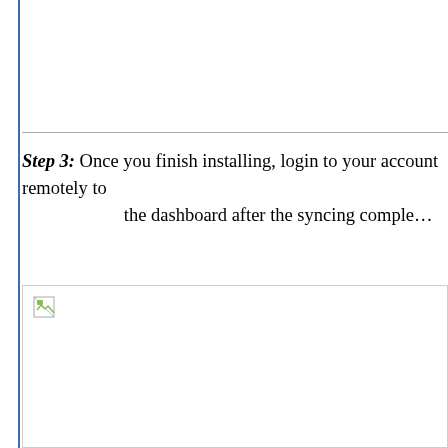[Figure (screenshot): Top image box area, partially visible, bordered at bottom with gray line]
Step 3: Once you finish installing, login to your account remotely to the dashboard after the syncing comple…
[Figure (screenshot): Screenshot placeholder with broken image icon in top-left corner]